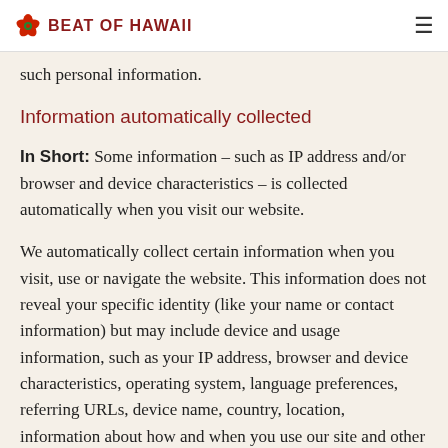BEAT OF HAWAII
such personal information.
Information automatically collected
In Short: Some information – such as IP address and/or browser and device characteristics – is collected automatically when you visit our website.
We automatically collect certain information when you visit, use or navigate the website. This information does not reveal your specific identity (like your name or contact information) but may include device and usage information, such as your IP address, browser and device characteristics, operating system, language preferences, referring URLs, device name, country, location, information about how and when you use our site and other technical information. This information is primarily needed to maintain the security and operation of our site, and for our internal analytics purposes.